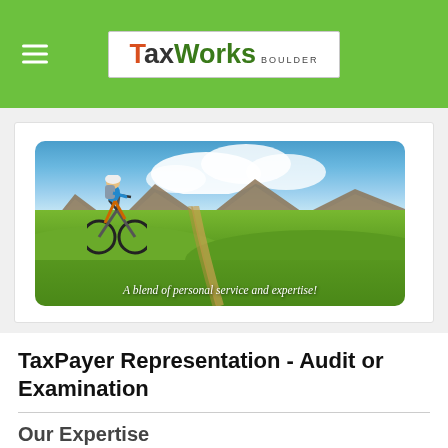TaxWorks BOULDER
[Figure (photo): Mountain biker on a trail with green hills and mountains in the background under a blue sky. Overlay text reads: A blend of personal service and expertise!]
TaxPayer Representation - Audit or Examination
Our Expertise